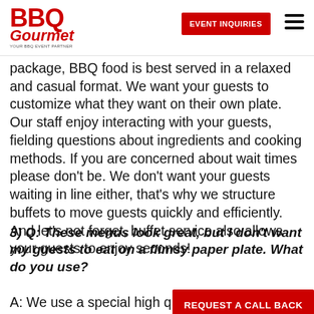BBQ Gourmet | EVENT INQUIRIES
package, BBQ food is best served in a relaxed and casual format. We want your guests to customize what they want on their own plate. Our staff enjoy interacting with your guests, fielding questions about ingredients and cooking methods. If you are concerned about wait times please don't be. We don't want your guests waiting in line either, that's why we structure buffets to move guests quickly and efficiently. And let's not forget, buffet service also allows your guests to enjoy seconds!
3) Q: These menus look great, but I don't want my guests to eat on a flimsy paper plate. What do you use?
A: We use a special high q